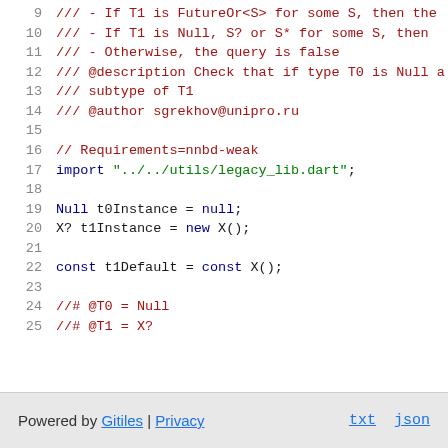[Figure (screenshot): Source code viewer showing Dart code lines 9-25 with syntax highlighting. Lines 9-14 are doc comments in red, line 16 is a regular comment in red, line 17 is an import statement, lines 19-20 declare variables, line 22 declares a const, lines 24-25 are test annotations.]
Powered by Gitiles | Privacy    txt  json